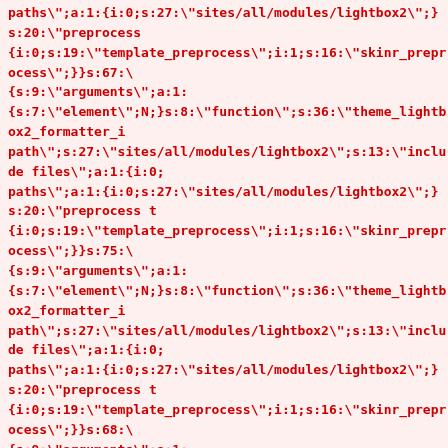paths";a:1:{i:0;s:27:"sites/all/modules/lightbox2";}s:20:"preprocess {i:0;s:19:"template_preprocess";i:1;s:16:"skinr_preprocess";}}s:67:\ {s:9:"arguments";a:1: {s:7:"element";N;}s:8:"function";s:36:"theme_lightbox2_formatter_i path";s:27:"sites/all/modules/lightbox2";s:13:"include files";a:1:{i:0; paths";a:1:{i:0;s:27:"sites/all/modules/lightbox2";}s:20:"preprocess t {i:0;s:19:"template_preprocess";i:1;s:16:"skinr_preprocess";}}s:75:\ {s:9:"arguments";a:1: {s:7:"element";N;}s:8:"function";s:36:"theme_lightbox2_formatter_i path";s:27:"sites/all/modules/lightbox2";s:13:"include files";a:1:{i:0; paths";a:1:{i:0;s:27:"sites/all/modules/lightbox2";}s:20:"preprocess t {i:0;s:19:"template_preprocess";i:1;s:16:"skinr_preprocess";}}s:68:\ {s:9:"arguments";a:1: {s:7:"element";N;}s:8:"function";s:36:"theme_lightbox2_formatter_i path";s:27:"sites/all/modules/lightbox2";s:13:"include files";a:1:{i:0; paths";a:1:{i:0;s:27:"sites/all/modules/lightbox2";}s:20:"preprocess t {i:0;s:19:"template_preprocess";i:1;s:16:"skinr_preprocess";}}s:76:\ {s:9:"arguments";a:1: {s:7:"element";N;}s:8:"function";s:36:"theme_lightbox2_formatter_i path";s:27:"sites/all/modules/lightbox2";s:13:"include files";a:1:{i:0; paths";a:1:{i:0;s:27:"sites/all/modules/lightbox2";}s:20:"preprocess t {i:0;s:19:"template_preprocess";i:1;s:16:"skinr_preprocess";}}s:69:\ {s:9:"arguments";a:1: {s:7:"element";N;}s:8:"function";s:36:"theme_lightbox2_formatter_i path";s:27:"sites/all/modules/lightbox2";s:13:"include files";a:1:{i:0; paths";a:1:{i:0;s:27:"sites/all/modules/lightbox2";}s:20:\